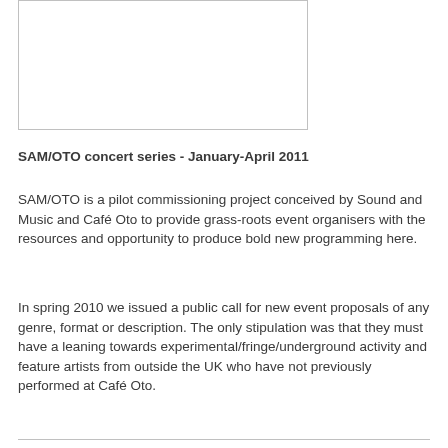[Figure (other): Empty white rectangular image placeholder with a thin grey border]
SAM/OTO concert series - January-April 2011
SAM/OTO is a pilot commissioning project conceived by Sound and Music and Café Oto to provide grass-roots event organisers with the resources and opportunity to produce bold new programming here.
In spring 2010 we issued a public call for new event proposals of any genre, format or description. The only stipulation was that they must have a leaning towards experimental/fringe/underground activity and feature artists from outside the UK who have not previously performed at Café Oto.